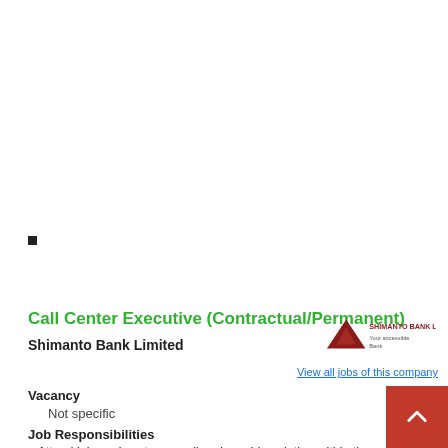Call Center Executive (Contractual/Permanent)
Shimanto Bank Limited
[Figure (logo): Shimanto Bank Limited logo with red triangle and text]
View all jobs of this company
Vacancy
Not specific
Job Responsibilities
Attend inbound customer call and provide solution within the defined SLA
Perform outbound calls as and when required